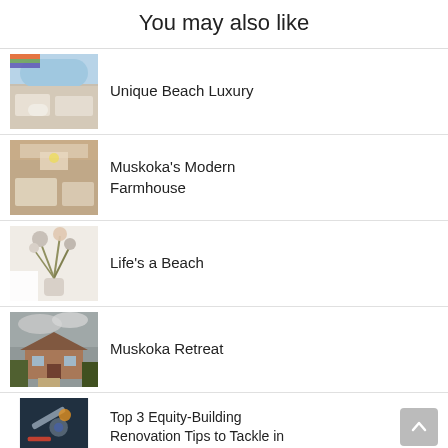You may also like
Unique Beach Luxury
Muskoka's Modern Farmhouse
Life's a Beach
Muskoka Retreat
Top 3 Equity-Building Renovation Tips to Tackle in